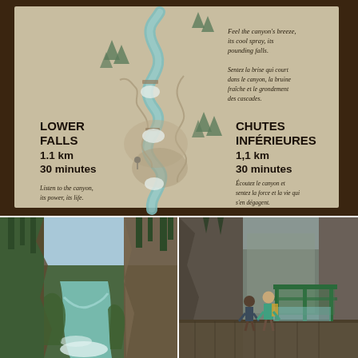[Figure (photo): A park/trail information sign with an illustrated map of Johnston Canyon. The sign shows a winding canyon trail with waterfalls. On the left side: 'LOWER FALLS 1.1 km 30 minutes'. On the right: 'CHUTES INFÉRIEURES 1,1 km 30 minutes'. Top right text in italics: 'Feel the canyon's breeze, its cool spray, its pounding falls.' and French: 'Sentez la brise qui court dans le canyon, la bruine fraîche et le grondement des cascades.' Bottom left italic: 'Listen to the canyon, its power, its life.' Bottom right French: 'Écoutez le canyon et sentez la force et la vie qui s'en dégagent.' The sign has a beige/tan background with teal/blue illustrated river and canyon features.]
[Figure (photo): A photograph of Johnston Canyon looking downstream, showing a turquoise-green river flowing through a narrow rocky canyon with tall evergreen trees on the steep canyon walls.]
[Figure (photo): A photograph of hikers walking on a metal catwalk/boardwalk trail attached to the rocky canyon wall of Johnston Canyon, with a green metal railing visible.]